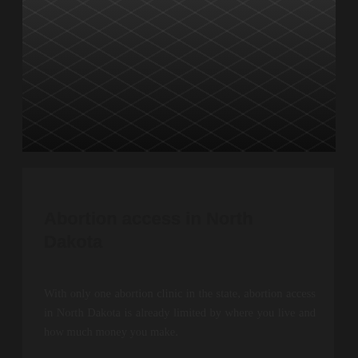[Figure (photo): Dark photograph of classical stone columns, architectural detail of a government or courthouse building]
Abortion access in North Dakota
With only one abortion clinic in the state, abortion access in North Dakota is already limited by where you live and how much money you make.